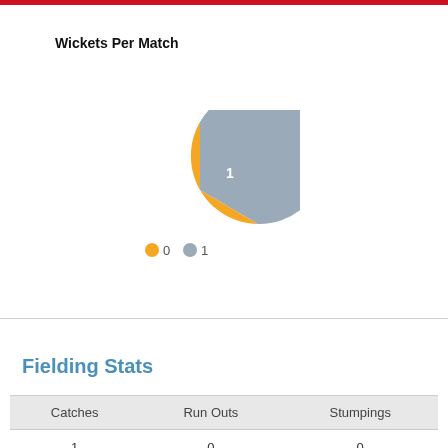[Figure (pie-chart): Wickets Per Match]
Fielding Stats
| Catches | Run Outs | Stumpings |
| --- | --- | --- |
| 1 | 0 | 0 |